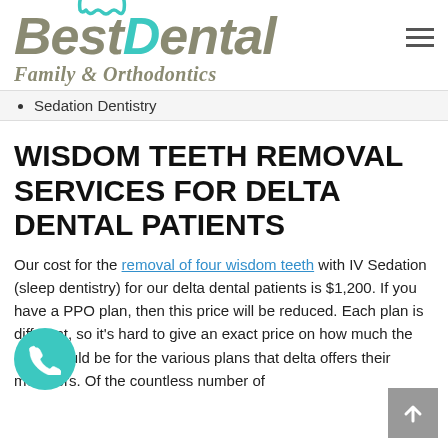[Figure (logo): Best Dental Family & Orthodontics logo with teal tooth icon above the D in Dental]
Sedation Dentistry
WISDOM TEETH REMOVAL SERVICES FOR DELTA DENTAL PATIENTS
Our cost for the removal of four wisdom teeth with IV Sedation (sleep dentistry) for our delta dental patients is $1,200. If you have a PPO plan, then this price will be reduced. Each plan is different, so it's hard to give an exact price on how much the price would be for the various plans that delta offers their members. Of the countless number of